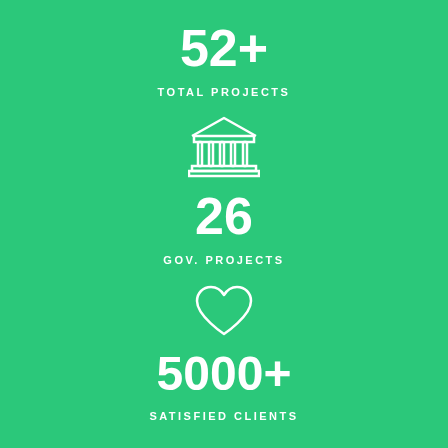52+
TOTAL PROJECTS
[Figure (illustration): White outline icon of a classical building/bank with columns and pediment]
26
GOV. PROJECTS
[Figure (illustration): White outline icon of a heart]
5000+
SATISFIED CLIENTS